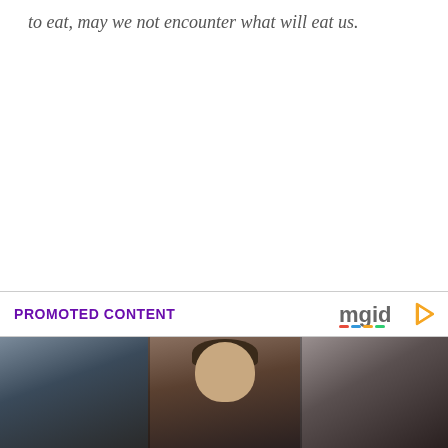to eat, may we not encounter what will eat us.
PROMOTED CONTENT
[Figure (logo): mgid logo with play button icon]
[Figure (photo): A young child smiling, flanked by two other figures in a dark indoor setting. Three-panel photo layout.]